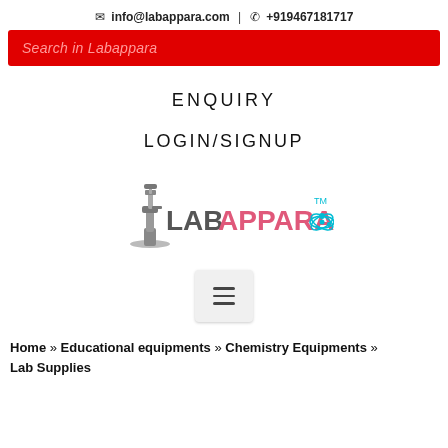✉ info@labappara.com | ✆ +919467181717
Search in Labappara
ENQUIRY
LOGIN/SIGNUP
[Figure (logo): Labappara logo with microscope icon, stylized text LABAPPARA in pink/cyan colors with TM mark and atom graphic]
[Figure (other): Hamburger menu button (three horizontal lines) on a light gray rounded rectangle background]
Home » Educational equipments » Chemistry Equipments » Lab Supplies